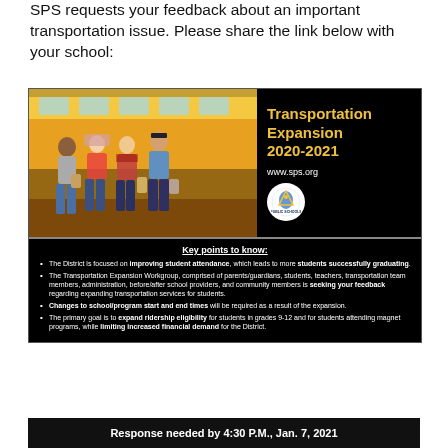SPS requests your feedback about an important transportation issue. Please share the link below with your school:
[Figure (infographic): Transportation Expansion 2020-2021 flyer with students standing in front of a school bus on the left, and text 'Transportation Expansion 2020-2021', 'www.sps.org', and a school logo on the right against a black background. Below is a black section with key bullet points.]
Key points to know:
The District is focused on improving student attendance, which leads to more students successfully graduating.
The Transportation Expansion Workgroup, comprised of parents/guardians, students, teachers, transportation team members, administration, before/after school providers, and community members is seeking your feedback regarding expanding transportation services for students.
Changes to school/program start and end times will be required as a result of the expansion.
The primary goal is to expand ridership eligibility for students in grades 9-12 and for students attending magnet programs, while limiting increased financial demand for the District.
Response needed by 4:30 P.M., Jan. 7, 2021